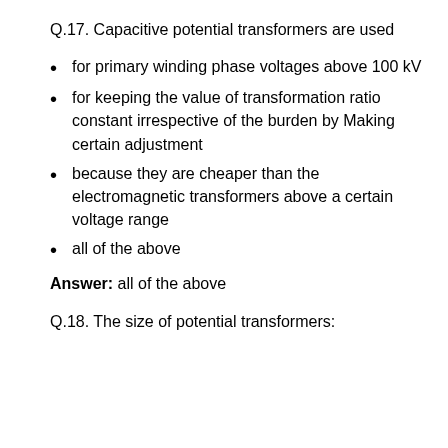Q.17. Capacitive potential transformers are used
for primary winding phase voltages above 100 kV
for keeping the value of transformation ratio constant irrespective of the burden by Making certain adjustment
because they are cheaper than the electromagnetic transformers above a certain voltage range
all of the above
Answer: all of the above
Q.18. The size of potential transformers: